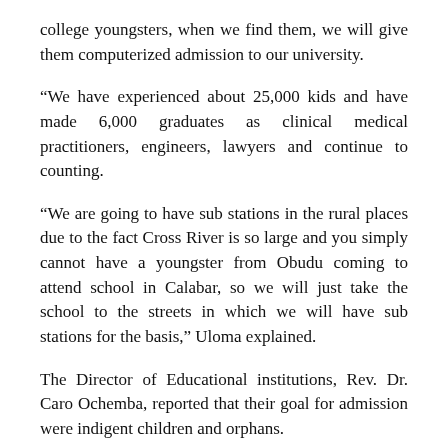college youngsters, when we find them, we will give them computerized admission to our university.
“We have experienced about 25,000 kids and have made 6,000 graduates as clinical medical practitioners, engineers, lawyers and continue to counting.
“We are going to have sub stations in the rural places due to the fact Cross River is so large and you simply cannot have a youngster from Obudu coming to attend school in Calabar, so we will just take the school to the streets in which we will have sub stations for the basis,” Uloma explained.
The Director of Educational institutions, Rev. Dr. Caro Ochemba, reported that their goal for admission were indigent children and orphans.